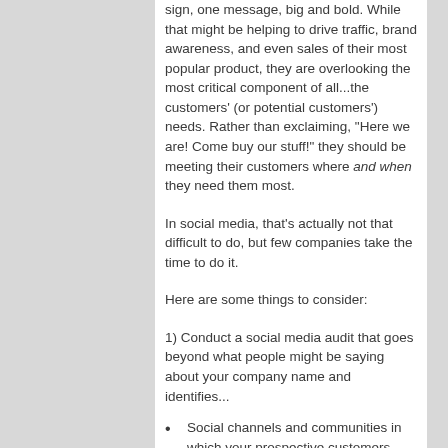sign, one message, big and bold. While that might be helping to drive traffic, brand awareness, and even sales of their most popular product, they are overlooking the most critical component of all...the customers' (or potential customers') needs. Rather than exclaiming, "Here we are! Come buy our stuff!" they should be meeting their customers where and when they need them most.
In social media, that's actually not that difficult to do, but few companies take the time to do it.
Here are some things to consider:
1) Conduct a social media audit that goes beyond what people might be saying about your company name and identifies...
Social channels and communities in which your prospective customers (and their influencers) are active;